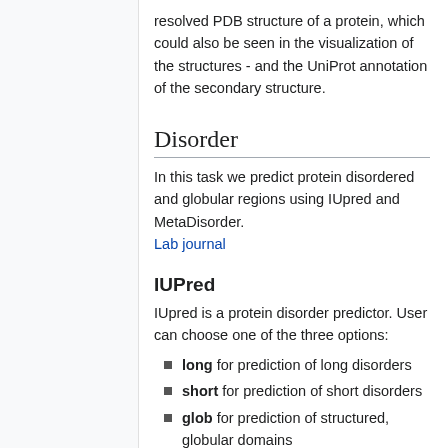resolved PDB structure of a protein, which could also be seen in the visualization of the structures - and the UniProt annotation of the secondary structure.
Disorder
In this task we predict protein disordered and globular regions using IUpred and MetaDisorder.
Lab journal
IUPred
IUpred is a protein disorder predictor. User can choose one of the three options:
long for prediction of long disorders
short for prediction of short disorders
glob for prediction of structured, globular domains
IUpred prediction results for each protein are presented and described in the plots below. The disorder tendency ranges from 0 to 1 and